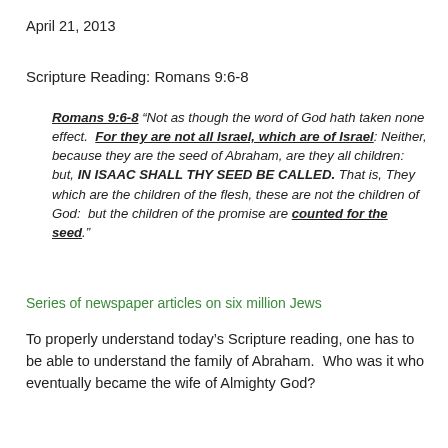April 21, 2013
Scripture Reading: Romans 9:6-8
Romans 9:6-8 “Not as though the word of God hath taken none effect.  For they are not all Israel, which are of Israel: Neither, because they are the seed of Abraham, are they all children:  but, IN ISAAC SHALL THY SEED BE CALLED.  That is, They which are the children of the flesh, these are not the children of God:  but the children of the promise are counted for the seed.”
Series of newspaper articles on six million Jews
To properly understand today’s Scripture reading, one has to be able to understand the family of Abraham.  Who was it who eventually became the wife of Almighty God?